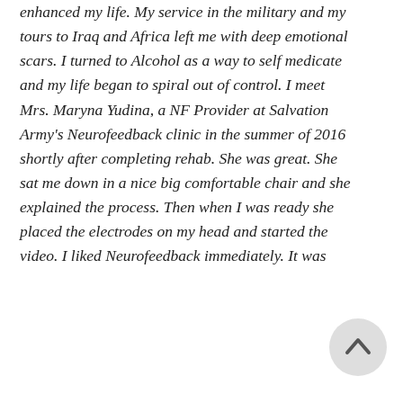enhanced my life. My service in the military and my tours to Iraq and Africa left me with deep emotional scars. I turned to Alcohol as a way to self medicate and my life began to spiral out of control. I meet Mrs. Maryna Yudina, a NF Provider at Salvation Army's Neurofeedback clinic in the summer of 2016 shortly after completing rehab. She was great. She sat me down in a nice big comfortable chair and she explained the process. Then when I was ready she placed the electrodes on my head and started the video. I liked Neurofeedback immediately. It was
[Figure (other): A circular scroll-to-top button with an upward arrow icon, light gray background]